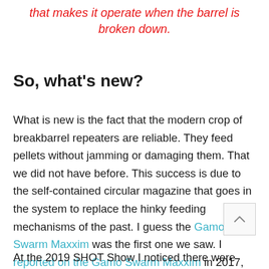that makes it operate when the barrel is broken down.
So, what's new?
What is new is the fact that the modern crop of breakbarrel repeaters are reliable. They feed pellets without jamming or damaging them. That we did not have before. This success is due to the self-contained circular magazine that goes in the system to replace the hinky feeding mechanisms of the past. I guess the Gamo Swarm Maxxim was the first one we saw. I reported on the Gamo Swarm Maxxim in 2017, and it worked perfectly throughout my tests.
At the 2019 SHOT Show I noticed there were